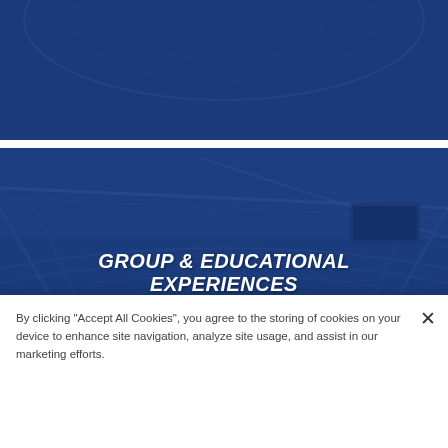[Figure (photo): Stadium interior aerial view with dark blue overlay — top banner]
[Figure (photo): Stadium interior wide-angle view with dark blue overlay]
Group & Educational Experiences
By clicking "Accept All Cookies", you agree to the storing of cookies on your device to enhance site navigation, analyze site usage, and assist in our marketing efforts.
Cookies Settings
Accept All Cookies